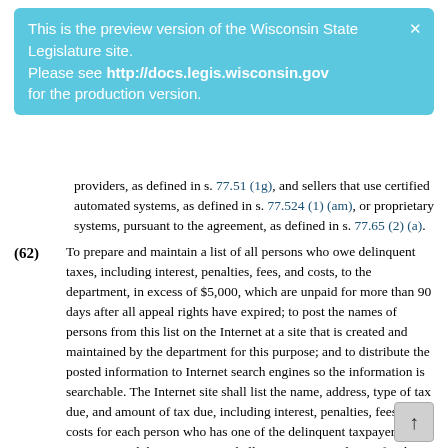(g) Set forth the information that the seller shall provide to the
This is the preview version of the Wisconsin State Legislature site. Please see http://docs.legis.wisconsin.gov for the production version.
providers, as defined in s. 77.51 (1g), and sellers that use certified automated systems, as defined in s. 77.524 (1) (am), or proprietary systems, pursuant to the agreement, as defined in s. 77.65 (2) (a).
(62)  To prepare and maintain a list of all persons who owe delinquent taxes, including interest, penalties, fees, and costs, to the department, in excess of $5,000, which are unpaid for more than 90 days after all appeal rights have expired; to post the names of persons from this list on the Internet at a site that is created and maintained by the department for this purpose; and to distribute the posted information to Internet search engines so the information is searchable. The Internet site shall list the name, address, type of tax due, and amount of tax due, including interest, penalties, fees, and costs for each person who has one of the delinquent taxpayer accounts, and the Internet site shall contain a special page for the persons who have the 100 largest delinquent taxpayer accounts. Except as otherwise provided in this subsection, the department shall update the Internet site on a quarterly bas and shall and the update to the Internet search engines. The